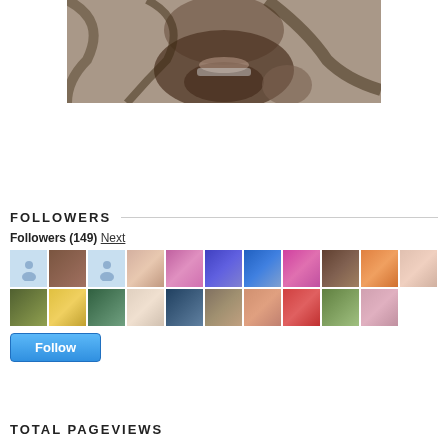[Figure (photo): Black and white sepia-toned close-up photo of a woman with braces showing her lips and lower face, hair partially covering her face, hand visible near her chin.]
FOLLOWERS
Followers (149) Next
[Figure (photo): Grid of follower avatar thumbnails, two rows of approximately 10-11 small square profile photos each.]
Follow
TOTAL PAGEVIEWS